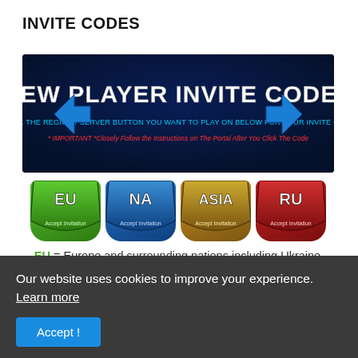INVITE CODES
[Figure (illustration): Dark navy banner with bold white text 'NEW PLAYER INVITE CODES', blue arrow icons on left and right, cyan text 'CLICK THE REGION / SERVER BUTTON YOU WANT TO PLAY ON BELOW FOR YOUR INVITE CODE', red italic text '* IMPORTANT *Closely Follow the Instructions on The Portal After You Click The Code']
[Figure (illustration): Four region buttons styled as shield/badge shapes: EU (green), NA (blue), ASIA (gold/brown), RU (red), each labeled 'Accept Invitation']
EU = Europe and surrounding nations including Ukraine.
NA = United States and surrounding nations.
ASIA = Japan, Thailand, Korea and surrounding nations.
RU = Russia, and surrounding nations.
The EU region is the most populated and to me the
Our website uses cookies to improve your experience. Learn more
your rewards) or Random (against other live players (best to